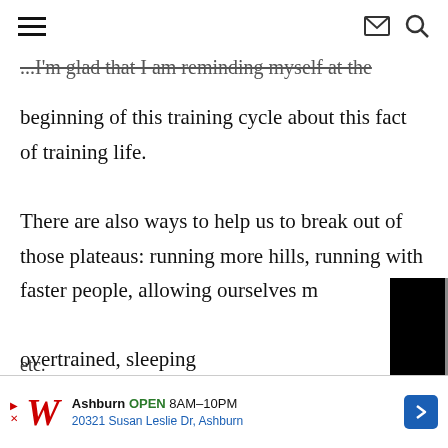[hamburger menu] [envelope icon] [search icon]
...I'm glad that I am reminding myself at the beginning of this training cycle about this fact of training life.
There are also ways to help us to break out of those plateaus: running more hills, running with faster people, allowing ourselves m... overtrained, sleeping... nutritiously (and ma... fuel all of our runnin... making sure we are ...
[Figure (screenshot): Video player overlay with black borders and gray center, showing a cyan/teal triangular play button logo on gray background]
etc.
Ashburn OPEN 8AM–10PM 20321 Susan Leslie Dr, Ashburn